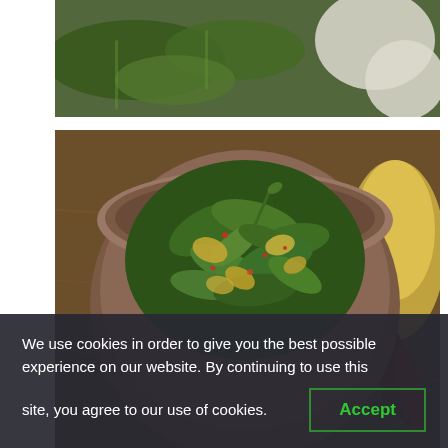[Figure (photo): Top portion of a food photo showing green leaves and white food items]
[Figure (photo): Bowl of cooked green leafy vegetables (saag/greens) with spices in a clay bowl, surrounded by dried red chilies and other ingredients on a wooden surface]
We use cookies in order to give you the best possible experience on our website. By continuing to use this site, you agree to our use of cookies.
Accept